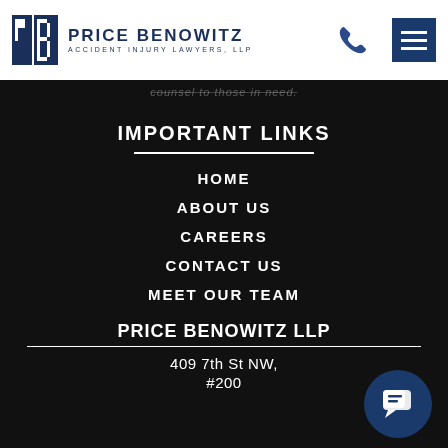[Figure (logo): Price Benowitz Accident Injury Lawyers LLP logo with PB monogram and phone icon, plus hamburger menu button]
counsel to those in need.
IMPORTANT LINKS
HOME
ABOUT US
CAREERS
CONTACT US
MEET OUR TEAM
PRICE BENOWITZ LLP
409 7th St NW,
#200